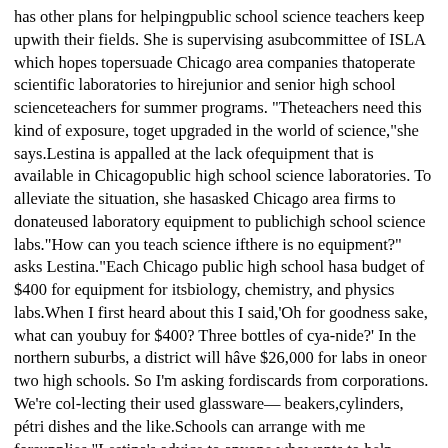has other plans for helpingpublic school science teachers keep upwith their fields. She is supervising asubcommittee of ISLA which hopes topersuade Chicago area companies thatoperate scientific laboratories to hirejunior and senior high school scienceteachers for summer programs. "Theteachers need this kind of exposure, toget upgraded in the world of science,"she says.Lestina is appalled at the lack ofequipment that is available in Chicagopublic high school science laboratories. To alleviate the situation, she hasasked Chicago area firms to donateused laboratory equipment to publichigh school science labs."How can you teach science ifthere is no equipment?" asks Lestina."Each Chicago public high school hasa budget of $400 for equipment for itsbiology, chemistry, and physics labs.When I first heard about this I said,'Oh for goodness sake, what can youbuy for $400? Three bottles of cya-nide?' In the northern suburbs, a district will hâve $26,000 for labs in oneor two high schools. So I'm asking fordiscards from corporations. We're col-lecting their used glassware— beakers,cylinders, pétri dishes and the like.Schools can arrange with me forsupplies."Lestina's advice to anyone whowants to help improve science or mathemàtics in the public schools is to do asshe does — think big. "Now just lastThursday I had lunch with the districtsuperintendent from a neighboringcounty. He came to me and wanted toorganize a high ability class for giftedstudents. I said, 'What topic do youwant to cover?' He said, T don't know.'So I said, 'Look, put it into